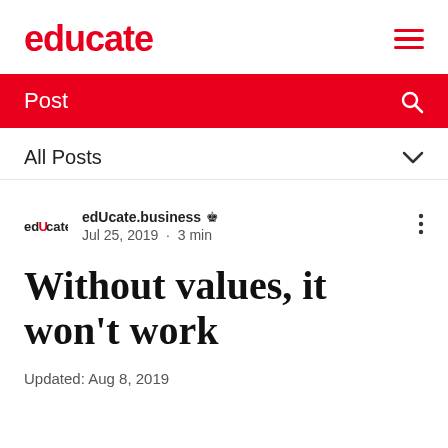educate
Post
All Posts
edUcate.business  Jul 25, 2019 · 3 min
Without values, it won't work
Updated: Aug 8, 2019